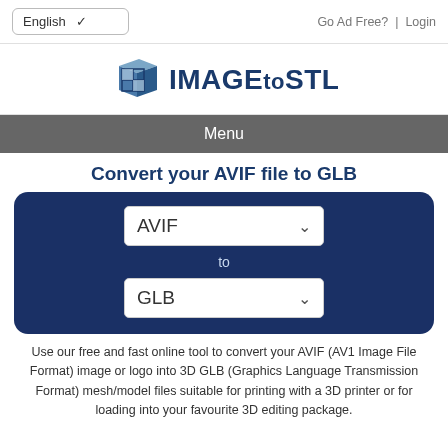English ∨   Go Ad Free? | Login
[Figure (logo): ImageToSTL logo: 3D cube icon followed by bold text 'IMAGEtoSTL' in dark navy blue]
Menu
Convert your AVIF file to GLB
[Figure (screenshot): Dark navy blue converter widget with two dropdown selectors: AVIF (top) and GLB (bottom), with 'to' label between them]
Use our free and fast online tool to convert your AVIF (AV1 Image File Format) image or logo into 3D GLB (Graphics Language Transmission Format) mesh/model files suitable for printing with a 3D printer or for loading into your favourite 3D editing package.